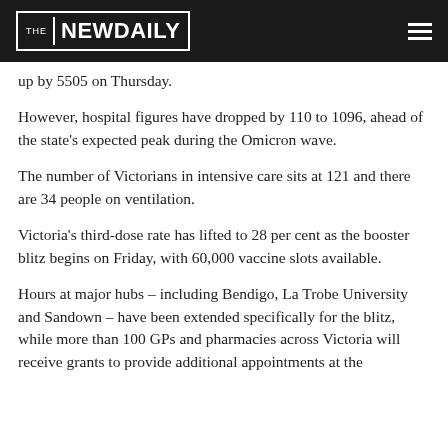THE NEW DAILY
up by 5505 on Thursday.
However, hospital figures have dropped by 110 to 1096, ahead of the state's expected peak during the Omicron wave.
The number of Victorians in intensive care sits at 121 and there are 34 people on ventilation.
Victoria's third-dose rate has lifted to 28 per cent as the booster blitz begins on Friday, with 60,000 vaccine slots available.
Hours at major hubs – including Bendigo, La Trobe University and Sandown – have been extended specifically for the blitz, while more than 100 GPs and pharmacies across Victoria will receive grants to provide additional appointments at the